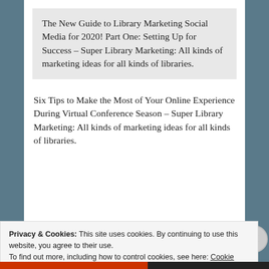The New Guide to Library Marketing Social Media for 2020! Part One: Setting Up for Success – Super Library Marketing: All kinds of marketing ideas for all kinds of libraries.
Six Tips to Make the Most of Your Online Experience During Virtual Conference Season – Super Library Marketing: All kinds of marketing ideas for all kinds of libraries.
Leave a Reply
Privacy & Cookies: This site uses cookies. By continuing to use this website, you agree to their use.
To find out more, including how to control cookies, see here: Cookie Policy